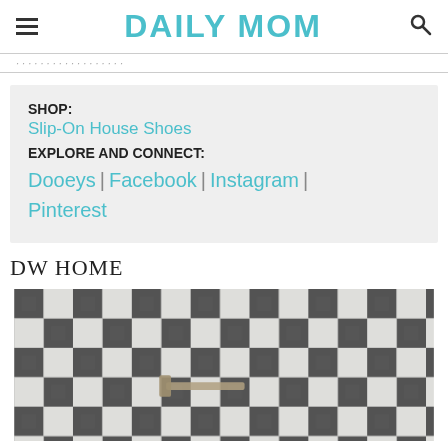DAILY MOM
SHOP: Slip-On House Shoes EXPLORE AND CONNECT: Dooeys | Facebook | Instagram | Pinterest
DW HOME
[Figure (photo): Close-up photo of gray and white buffalo check/plaid fabric or textile with dark metal hardware visible]